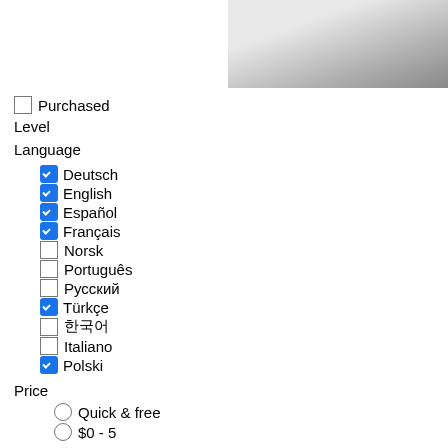[Figure (photo): Partial photograph visible in top-right corner, grayscale, appears to show a person]
Purchased (unchecked checkbox)
Level
Language
✓ Deutsch
✓ English
✓ Español
✓ Français
□ Norsk
□ Português
□ Русский
✓ Türkçe
□ 한국어
□ Italiano
✓ Polski
Price
○ Quick & free
○ $0 - 5